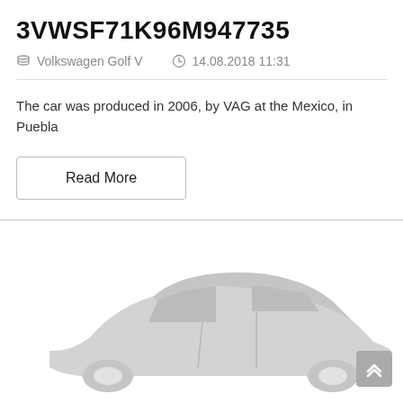3VWSF71K96M947735
Volkswagen Golf V   14.08.2018 11:31
The car was produced in 2006, by VAG at the Mexico, in Puebla
Read More
[Figure (illustration): Gray silhouette illustration of a car (hatchback/Golf) shown from the side, partially visible at the bottom of the page]